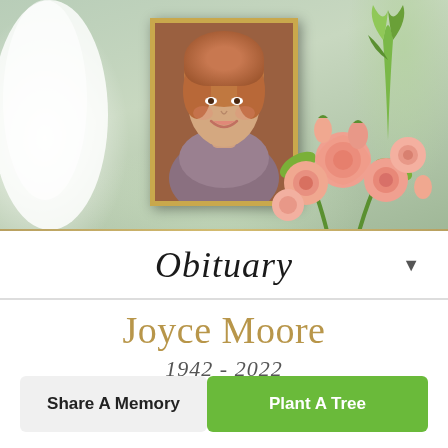[Figure (photo): Memorial header photo showing a framed portrait of Joyce Moore surrounded by pink flowers and white/green lily buds on a soft floral background]
Obituary
Joyce Moore
1942 - 2022
Share A Memory
Plant A Tree